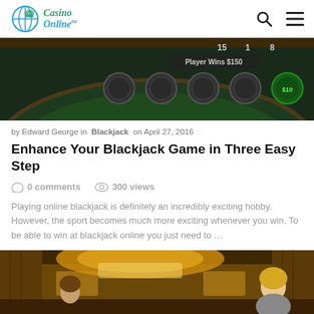Casino Online ZA — navigation header
[Figure (photo): Blackjack table game screenshot showing player chips and 'Player Wins $150' text on a dark green felt table]
by Edward George in Blackjack on April 27, 2016
Enhance Your Blackjack Game in Three Easy Step
0 comments  300 views
Playing online blackjack is definitely an incredibly exciting hobby. However, the sport becomes much more exciting whenever you win. To be able to win at blackjack online you just need to …
[Figure (photo): Casino interior with warm amber lighting, large circular ceiling lamp, and a blonde woman visible in the background]